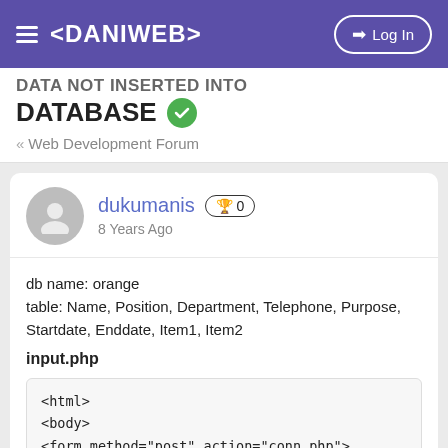≡ <DANIWEB>   ➡ Log In
DATA NOT INSERTED INTO DATABASE ✓
« Web Development Forum
dukumanis 🏆 0
8 Years Ago
db name: orange
table: Name, Position, Department, Telephone, Purpose, Startdate, Enddate, Item1, Item2

input.php
<html>
<body>
<form method="post" action="conn.php">